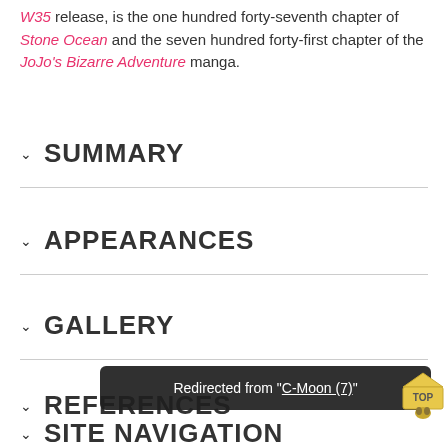W35 release, is the one hundred forty-seventh chapter of Stone Ocean and the seven hundred forty-first chapter of the JoJo's Bizarre Adventure manga.
SUMMARY
APPEARANCES
GALLERY
REFERENCES
Redirected from "C-Moon (7)"
SITE NAVIGATION